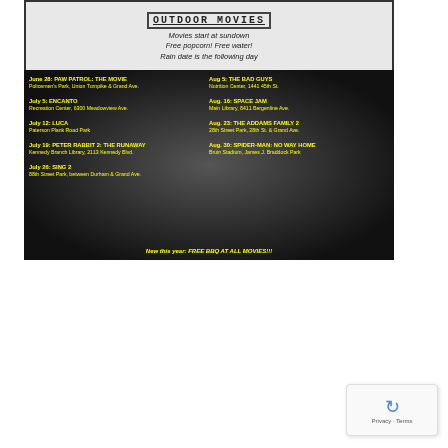[Figure (infographic): Outdoor Movies flyer with black and white movie theater crowd background. Yellow title 'OUTDOOR MOVIES' on screen graphic. Shows movie schedule listings in yellow text on both left and right columns. Includes dates, movie titles, and locations. Bottom text: 'New this year: FREE BBQ AT ALL MOVIES!!!']
[Figure (infographic): Annual Pool Luau event flyer with dark blue/purple background, hibiscus flowers, NB logo circle, shooting star. Text: 'ANNUAL POOL LUAU', 'BROUGHT TO YOU BY MAYOR NICHOLAS J. SACCO & COMMISSIONER HUGO D. CARRERA AND COMMISSIONERS', 'August 31st 2022 7pm - 11pm']